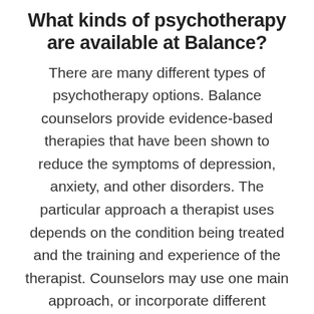What kinds of psychotherapy are available at Balance?
There are many different types of psychotherapy options. Balance counselors provide evidence-based therapies that have been shown to reduce the symptoms of depression, anxiety, and other disorders. The particular approach a therapist uses depends on the condition being treated and the training and experience of the therapist. Counselors may use one main approach, or incorporate different elements depending on the needs of the person receiving treatment.